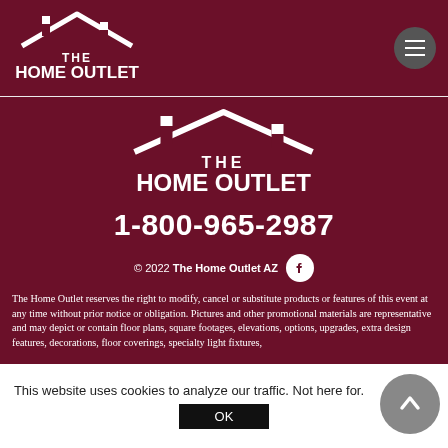The Home Outlet — header with logo and navigation
[Figure (logo): The Home Outlet logo (house icon with text) in white on dark red background, header version]
[Figure (logo): The Home Outlet logo (house icon with text) in white, centered large version]
1-800-965-2987
© 2022 The Home Outlet AZ
The Home Outlet reserves the right to modify, cancel or substitute products or features of this event at any time without prior notice or obligation. Pictures and other promotional materials are representative and may depict or contain floor plans, square footages, elevations, options, upgrades, extra design features, decorations, floor coverings, specialty light fixtures,
This website uses cookies to analyze our traffic. Not here for.
OK